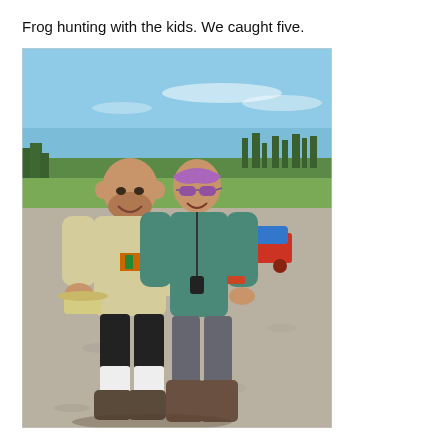Frog hunting with the kids. We caught five.
[Figure (photo): Two adults standing and smiling on a gravel road outdoors under a blue sky. The man on the left is bald, wearing a light beige t-shirt and black shorts, holding a hat. The woman on the right is wearing a purple bandana headband, sunglasses, a teal long-sleeve shirt, gray pants and brown boots, with a lanyard around her neck. In the background there is a small red wagon or cart with a blue item on it, and trees along the horizon.]